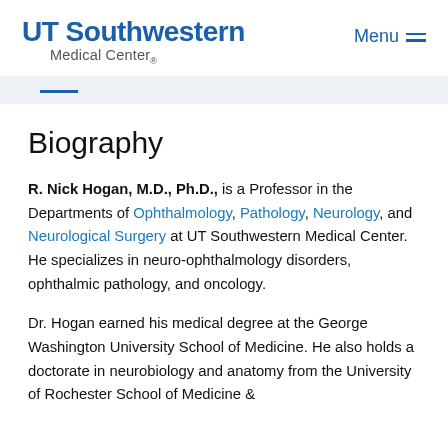UT Southwestern Medical Center.
Biography
R. Nick Hogan, M.D., Ph.D., is a Professor in the Departments of Ophthalmology, Pathology, Neurology, and Neurological Surgery at UT Southwestern Medical Center. He specializes in neuro-ophthalmology disorders, ophthalmic pathology, and oncology.
Dr. Hogan earned his medical degree at the George Washington University School of Medicine. He also holds a doctorate in neurobiology and anatomy from the University of Rochester School of Medicine &